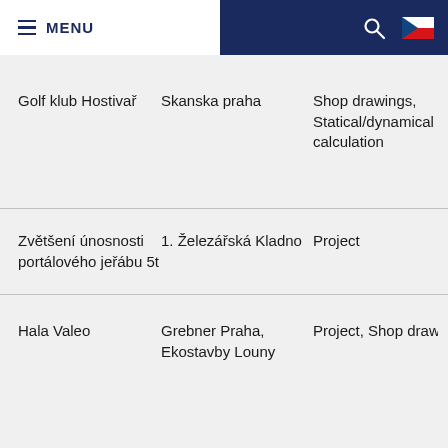MENU
Golf klub Hostivař | Skanska praha | Shop drawings, Statical/dynamical calculation
Zvětšení únosnosti portálového jeřábu 5t | 1. Železářská Kladno | Project
Hala Valeo | Grebner Praha, Ekostavby Louny | Project, Shop drawi...